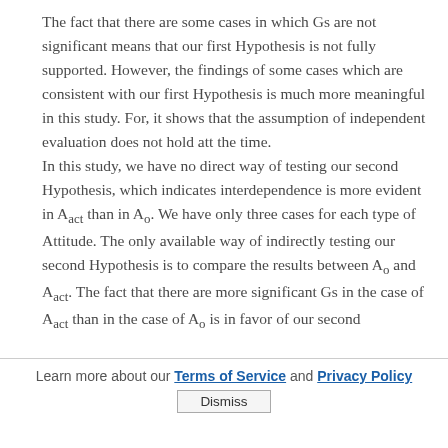The fact that there are some cases in which Gs are not significant means that our first Hypothesis is not fully supported. However, the findings of some cases which are consistent with our first Hypothesis is much more meaningful in this study. For, it shows that the assumption of independent evaluation does not hold att the time. In this study, we have no direct way of testing our second Hypothesis, which indicates interdependence is more evident in A_act than in A_o. We have only three cases for each type of Attitude. The only available way of indirectly testing our second Hypothesis is to compare the results between A_o and A_act. The fact that there are more significant Gs in the case of A_act than in the case of A_o is in favor of our second
Learn more about our Terms of Service and Privacy Policy  Dismiss